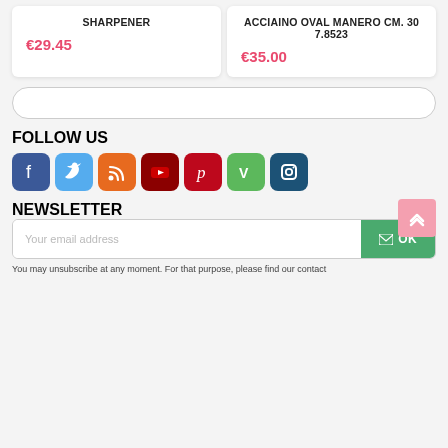SHARPENER
€29.45
ACCIAINO OVAL MANERO CM. 30
7.8523
€35.00
FOLLOW US
[Figure (infographic): Row of social media icon buttons: Facebook (dark blue), Twitter (light blue), RSS (orange), YouTube (dark red), Pinterest (crimson), Vimeo (green), Instagram (dark blue)]
NEWSLETTER
Your email address
OK
You may unsubscribe at any moment. For that purpose, please find our contact